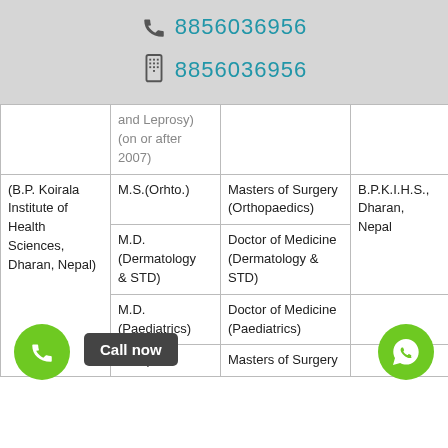8856036956 (phone) | 8856036956 (mobile)
| Institution | Abbreviation | Full Name | Location |
| --- | --- | --- | --- |
|  | and Leprosy) (on or after 2007) |  |  |
| (B.P. Koirala Institute of Health Sciences, Dharan, Nepal) | M.S.(Orhto.) | Masters of Surgery (Orthopaedics) | B.P.K.I.H.S., Dharan, Nepal |
|  | M.D. (Dermatology & STD) | Doctor of Medicine (Dermatology & STD) |  |
|  | M.D. (Paediatrics) | Doctor of Medicine (Paediatrics) |  |
|  | M.S.(Gen. | Masters of Surgery |  |